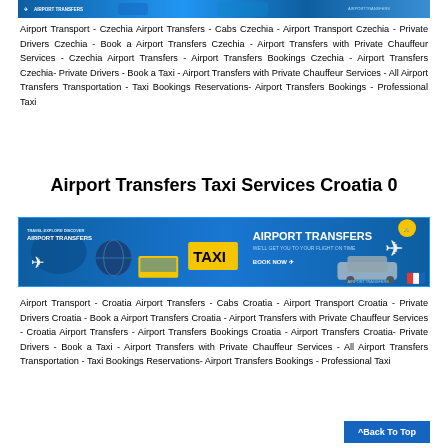[Figure (photo): Airport transfers promotional banner with planes and cars, blue theme]
Airport Transport - Czechia Airport Transfers - Cabs Czechia - Airport Transport Czechia - Private Drivers Czechia - Book a Airport Transfers Czechia - Airport Transfers with Private Chauffeur Services - Czechia Airport Transfers - Airport Transfers Bookings Czechia - Airport Transfers Czechia- Private Drivers - Book a Taxi - Airport Transfers with Private Chauffeur Services - All Airport Transfers Transportation - Taxi Bookings Reservations- Airport Transfers Bookings - Professional Taxi
Airport Transfers Taxi Services Croatia 0
[Figure (photo): Airport transfers taxi promotional banner with planes, taxi yellow sign, blue background, BOOK NOW button]
Airport Transport - Croatia Airport Transfers - Cabs Croatia - Airport Transport Croatia - Private Drivers Croatia - Book a Airport Transfers Croatia - Airport Transfers with Private Chauffeur Services - Croatia Airport Transfers - Airport Transfers Bookings Croatia - Airport Transfers Croatia- Private Drivers - Book a Taxi - Airport Transfers with Private Chauffeur Services - All Airport Transfers Transportation - Taxi Bookings Reservations- Airport Transfers Bookings - Professional Taxi
^Back To Top